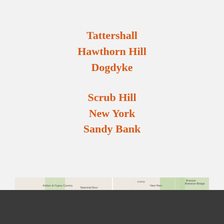Tattershall
Hawthorn Hill
Dogdyke
Scrub Hill
New York
Sandy Bank
[Figure (map): Google Maps view showing Tattershall area in Lincolnshire, England, with place markers including Tattershall Farm Park, a central orange C marker, and surrounding villages such as Dogdyke, Scrub Hill, New York, Sandy Bank, Hawthorn Hill, Kirkby Green, Martini, Branston Bridge, and others.]